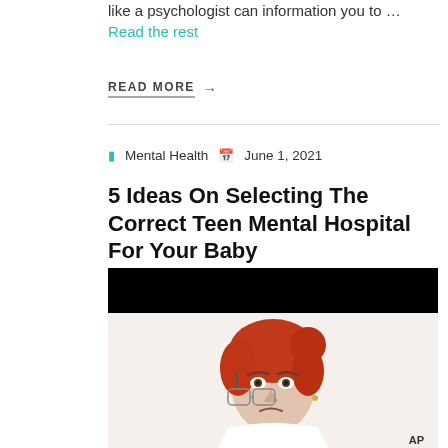like a psychologist can information you to … Read the rest
READ MORE →
Mental Health   June 1, 2021
5 Ideas On Selecting The Correct Teen Mental Hospital For Your Baby
[Figure (photo): An older woman with red hair holding glasses up to her forehead with a frowning, concerned expression, against a white background. Black redacted bar at top. 'AP' watermark at bottom right.]